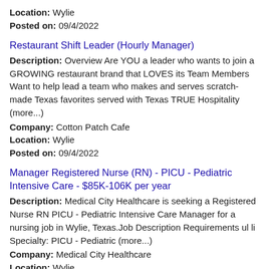Location: Wylie
Posted on: 09/4/2022
Restaurant Shift Leader (Hourly Manager)
Description: Overview Are YOU a leader who wants to join a GROWING restaurant brand that LOVES its Team Members Want to help lead a team who makes and serves scratch-made Texas favorites served with Texas TRUE Hospitality (more...)
Company: Cotton Patch Cafe
Location: Wylie
Posted on: 09/4/2022
Manager Registered Nurse (RN) - PICU - Pediatric Intensive Care - $85K-106K per year
Description: Medical City Healthcare is seeking a Registered Nurse RN PICU - Pediatric Intensive Care Manager for a nursing job in Wylie, Texas.Job Description Requirements ul li Specialty: PICU - Pediatric (more...)
Company: Medical City Healthcare
Location: Wylie
Posted on: 09/4/2022
Salary in Fort Worth, Texas Area | More details for Fort Worth, Texas Jobs |Salary